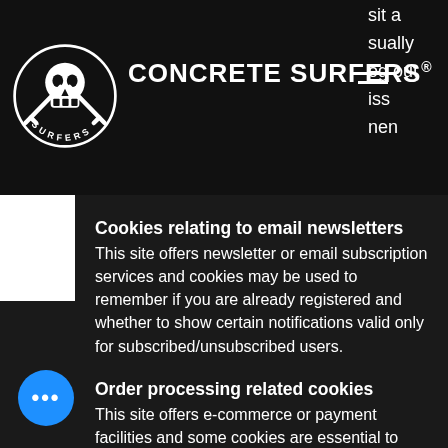Concrete Surfers®
Cookies relating to email newsletters
This site offers newsletter or email subscription services and cookies may be used to remember if you are already registered and whether to show certain notifications valid only for subscribed/unsubscribed users.
Order processing related cookies
This site offers e-commerce or payment facilities and some cookies are essential to ensure that your order is remembered between pages so that we can process it